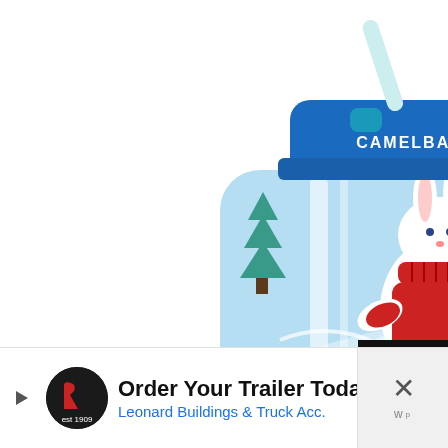[Figure (photo): CamelBak kids water bottle with blue lid and straw, featuring a winter scene with a white bunny wearing a red sweater and ice skates, surrounded by pine trees on a light blue bottle body.]
TOP
[Figure (infographic): Advertisement banner: Order Your Trailer Today - Leonard Buildings & Truck Acc.]